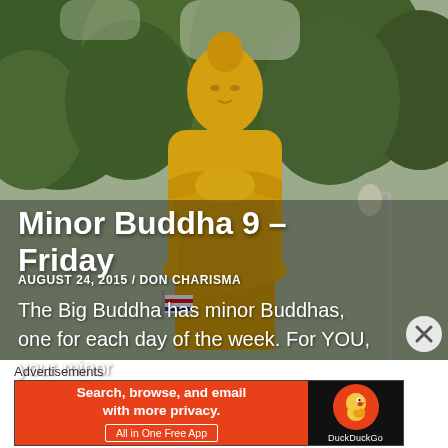[Figure (photo): Large golden Buddha statue standing upright with hands crossed over chest, surrounded by trees in the background. A Thai flag is partially visible near the base of the statue.]
Minor Buddha 9 – Friday
AUGUST 24, 2015 / DON CHARISMA
The Big Buddha has minor Buddhas, one for each day of the week. For YOU, your minor
Advertisements
[Figure (screenshot): DuckDuckGo advertisement banner: orange background with text 'Search, browse, and email with more privacy. All in One Free App' on the left, and the DuckDuckGo duck logo on a black background on the right.]